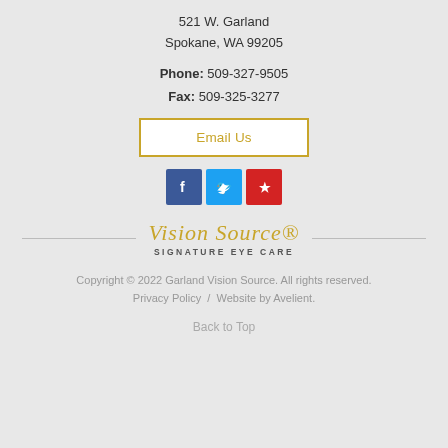521 W. Garland
Spokane, WA 99205
Phone: 509-327-9505
Fax: 509-325-3277
Email Us
[Figure (other): Social media icons: Facebook (blue), Twitter (light blue), Yelp (red)]
[Figure (logo): Vision Source Signature Eye Care logo in gold script with subtitle]
Copyright © 2022 Garland Vision Source. All rights reserved.
Privacy Policy   /   Website by Avelient.
Back to Top